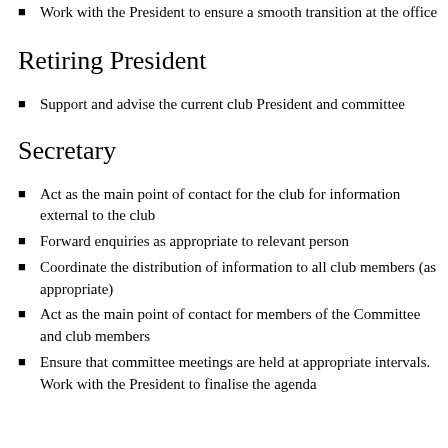Work with the President to ensure a smooth transition at the office
Retiring President
Support and advise the current club President and committee
Secretary
Act as the main point of contact for the club for information external to the club
Forward enquiries as appropriate to relevant person
Coordinate the distribution of information to all club members (as appropriate)
Act as the main point of contact for members of the Committee and club members
Ensure that committee meetings are held at appropriate intervals. Work with the President to finalise the agenda